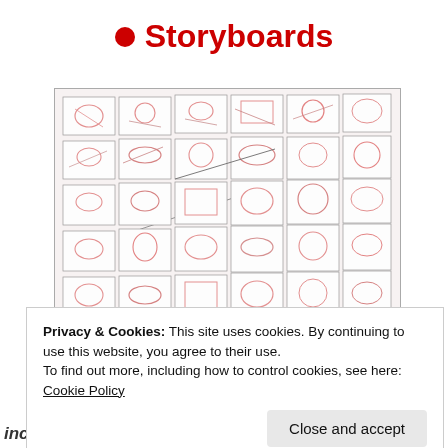• Storyboards
[Figure (illustration): A large spread of storyboard panels featuring sketched cartoon/animation scenes drawn in red/pink pencil, arranged in a grid layout across two large sheets of paper laid side by side.]
Privacy & Cookies: This site uses cookies. By continuing to use this website, you agree to their use.
To find out more, including how to control cookies, see here: Cookie Policy
Close and accept
incredibly boring when it's storyboarded.